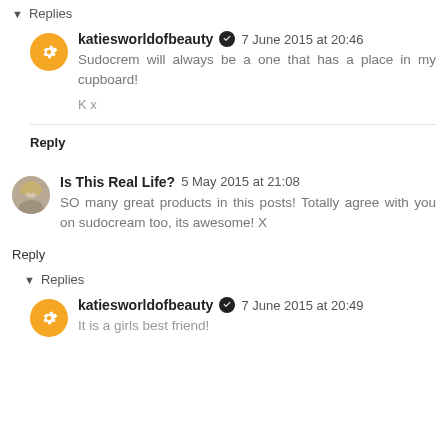▾ Replies
katiesworldofbeauty ✓ 7 June 2015 at 20:46
Sudocrem will always be a one that has a place in my cupboard!

K x
Reply
Is This Real Life?  5 May 2015 at 21:08
SO many great products in this posts! Totally agree with you on sudocream too, its awesome! X
Reply
▾ Replies
katiesworldofbeauty ✓ 7 June 2015 at 20:49
It is a girls best friend!